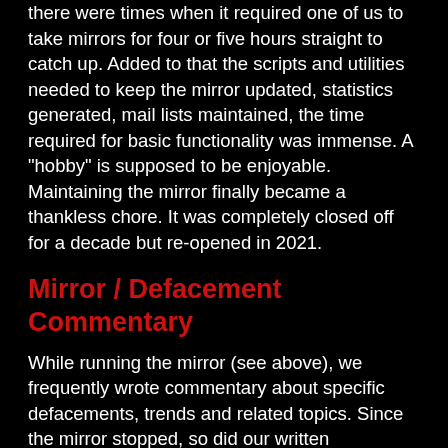there were times when it required one of us to take mirrors for four or five hours straight to catch up. Added to that the scripts and utilities needed to keep the mirror updated, statistics generated, mail lists maintained, the time required for basic functionality was immense. A "hobby" is supposed to be enjoyable. Maintaining the mirror finally became a thankless chore. It was completely closed off for a decade but re-opened in 2021.
Mirror / Defacement Commentary
While running the mirror (see above), we frequently wrote commentary about specific defacements, trends and related topics. Since the mirror stopped, so did our written commentary.
Image Gallery